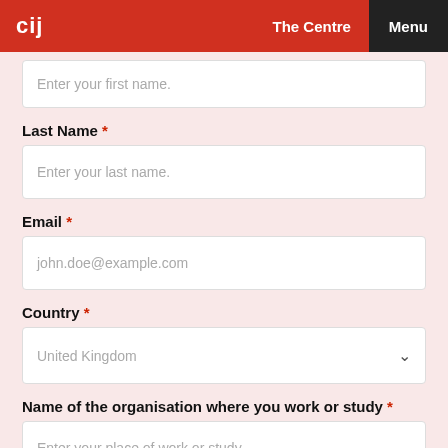cij  The Centre  Menu
Enter your first name.
Last Name *
Enter your last name.
Email *
john.doe@example.com
Country *
United Kingdom
Name of the organisation where you work or study *
Enter your place of work or study...
What is your job/university course? *